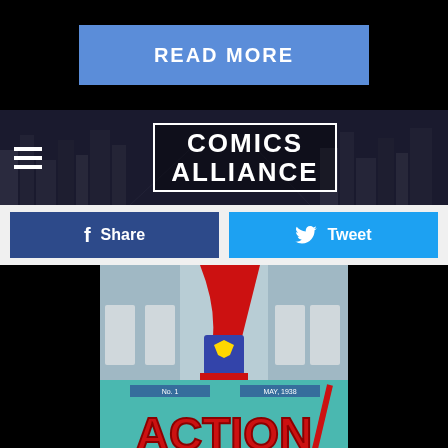[Figure (screenshot): Blue 'READ MORE' button on black background]
[Figure (logo): Comics Alliance website header logo with hamburger menu icon]
[Figure (screenshot): Facebook Share and Twitter Tweet social sharing buttons]
[Figure (photo): Supergirl cosplay photo showing lower body with red skirt, blue suit, red boots and cape on steps]
Image 1 of 33
[Figure (photo): Action Comics No. 1 May 1938 comic book cover with Superman]